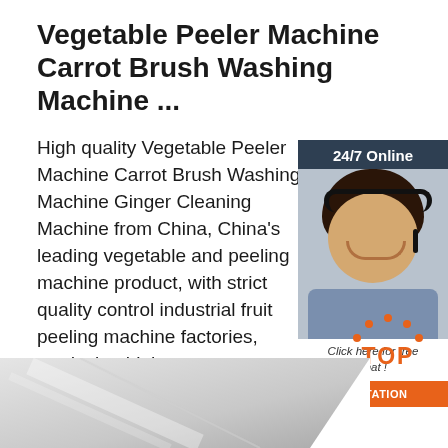Vegetable Peeler Machine Carrot Brush Washing Machine ...
High quality Vegetable Peeler Machine Carrot Brush Washing Machine Ginger Cleaning Machine from China, China's leading vegetable and peeling machine product, with strict quality control industrial fruit peeling machine factories, producing high ...
[Figure (illustration): Customer service representative with headset, 24/7 Online chat widget with dark blue background, orange QUOTATION button]
Get Price
[Figure (illustration): TOP navigation button with orange dots and text]
[Figure (photo): Bottom strip showing a metallic/industrial machine surface in grayscale]